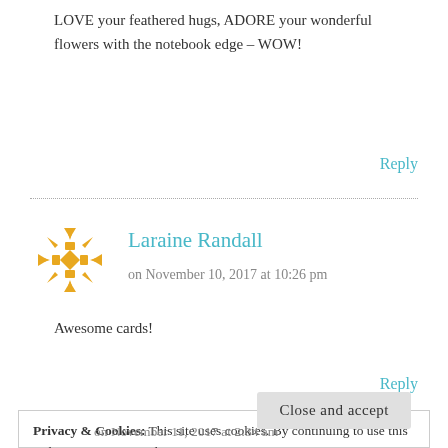LOVE your feathered hugs, ADORE your wonderful flowers with the notebook edge – WOW!
Reply
Laraine Randall
on November 10, 2017 at 10:26 pm
Awesome cards!
Reply
Privacy & Cookies: This site uses cookies. By continuing to use this website, you agree to their use.
To find out more, including how to control cookies, see here: Cookie Policy
Close and accept
on November 11, 2017 at 2:34 am